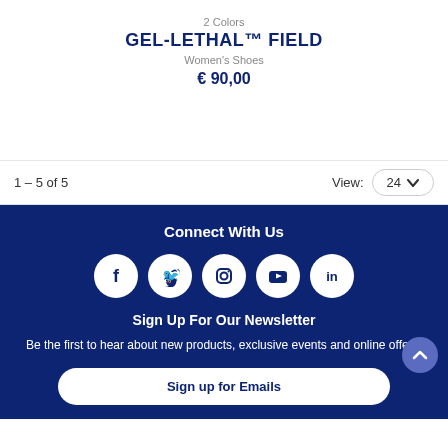2 Colors
GEL-LETHAL™ FIELD
Women's Shoes
€ 90,00
1 – 5 of 5
View: 24
Connect With Us
[Figure (infographic): Social media icons: Facebook, Twitter, Instagram, YouTube, LinkedIn — white circles on dark blue background]
Sign Up For Our Newsletter
Be the first to hear about new products, exclusive events and online offers.
Sign up for Emails